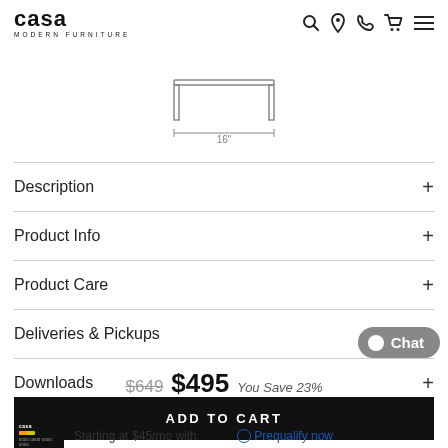casa MODERN FURNITURE
[Figure (illustration): Line drawing/diagram of a furniture piece (coffee table or bench) shown from front view with a width dimension arrow indicating 16 inches]
Description +
Product Info +
Product Care +
Deliveries & Pickups +
Downloads +
$649  $495  You Save 23%
ADD TO CART
Starting at $45/mo with affirm  Prequalify now